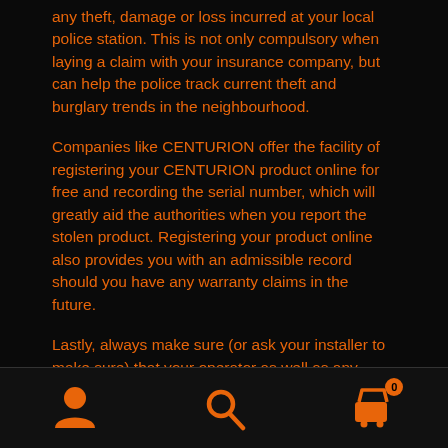any theft, damage or loss incurred at your local police station. This is not only compulsory when laying a claim with your insurance company, but can help the police track current theft and burglary trends in the neighbourhood.
Companies like CENTURION offer the facility of registering your CENTURION product online for free and recording the serial number, which will greatly aid the authorities when you report the stolen product. Registering your product online also provides you with an admissible record should you have any warranty claims in the future.
Lastly, always make sure (or ask your installer to make sure) that your operator as well as any auxiliary devices
[Figure (infographic): Bottom navigation bar with three icons: person/user icon on the left, search magnifying glass icon in the center, and shopping cart icon with badge showing 0 on the right]